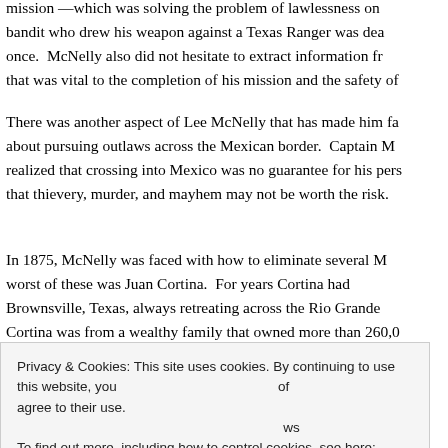mission —which was solving the problem of lawlessness on the border. Any bandit who drew his weapon against a Texas Ranger was dealt with at once. McNelly also did not hesitate to extract information from outlaws that was vital to the completion of his mission and the safety of his men.
There was another aspect of Lee McNelly that has made him famous: his zeal about pursuing outlaws across the Mexican border. Captain McNelly realized that crossing into Mexico was no guarantee for his personal safety, that thievery, murder, and mayhem may not be worth the risk.
In 1875, McNelly was faced with how to eliminate several Mexican outlaws. The worst of these was Juan Cortina. For years Cortina had been raiding Brownsville, Texas, always retreating across the Rio Grande to safety. Cortina was from a wealthy family that owned more than 260,000 acres of land in Mexico. He was well connected politically in Tamaulipas, always receiving support from local Mexican officials and politicos who viewed cattle stealing as a way of getting back at Texas ranchers.
Privacy & Cookies: This site uses cookies. By continuing to use this website, you agree to their use. To find out more, including how to control cookies, see here: Cookie Policy
McNelly's rangers employed a group of former southern ranchers at